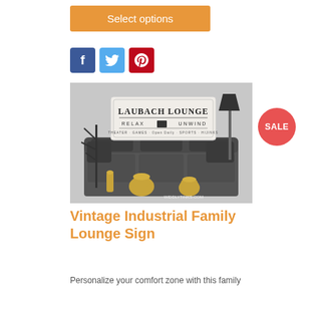Select options
[Figure (other): Social media share buttons: Facebook (blue), Twitter (light blue), Pinterest (red)]
[Figure (photo): Living room with dark grey sofa, gold decorative vases, and a custom 'Laubach Lounge — Relax Unwind' vintage industrial sign on the wall. Watermark: WIDDLYTINKS.COM. SALE badge overlaid.]
Vintage Industrial Family Lounge Sign
Personalize your comfort zone with this family